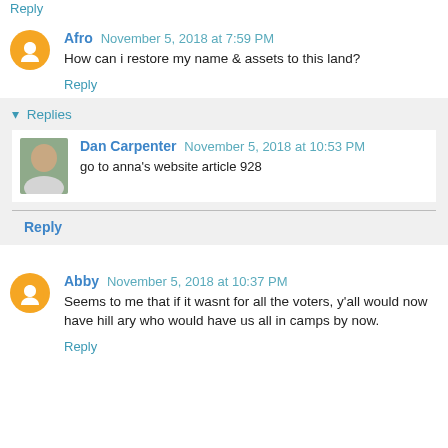Reply
Afro November 5, 2018 at 7:59 PM
How can i restore my name & assets to this land?
Reply
Replies
Dan Carpenter November 5, 2018 at 10:53 PM
go to anna's website article 928
Reply
Abby November 5, 2018 at 10:37 PM
Seems to me that if it wasnt for all the voters, y'all would now have hill ary who would have us all in camps by now.
Reply